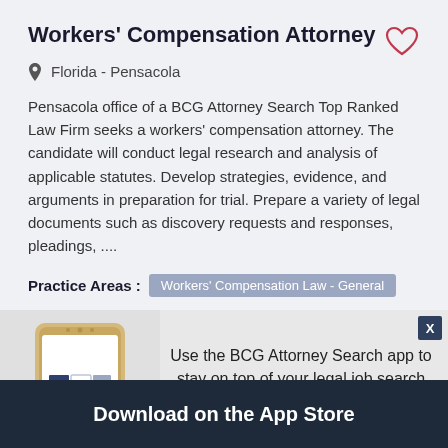Workers' Compensation Attorney
Florida - Pensacola
Pensacola office of a BCG Attorney Search Top Ranked Law Firm seeks a workers' compensation attorney. The candidate will conduct legal research and analysis of applicable statutes. Develop strategies, evidence, and arguments in preparation for trial. Prepare a variety of legal documents such as discovery requests and responses, pleadings, ....
Practice Areas : Workers' Compensation Law - General
Use the BCG Attorney Search app to stay on top of your legal job search wherever you are.
Download on the App Store